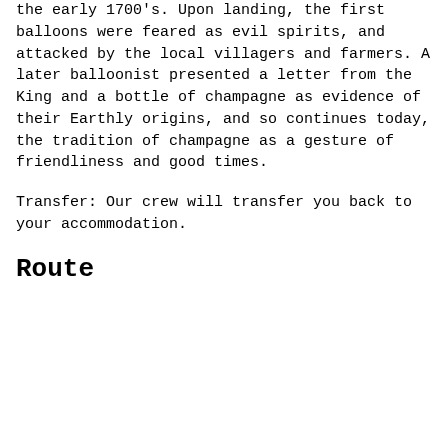the early 1700's. Upon landing, the first balloons were feared as evil spirits, and attacked by the local villagers and farmers. A later balloonist presented a letter from the King and a bottle of champagne as evidence of their Earthly origins, and so continues today, the tradition of champagne as a gesture of friendliness and good times.
Transfer: Our crew will transfer you back to your accommodation.
Route